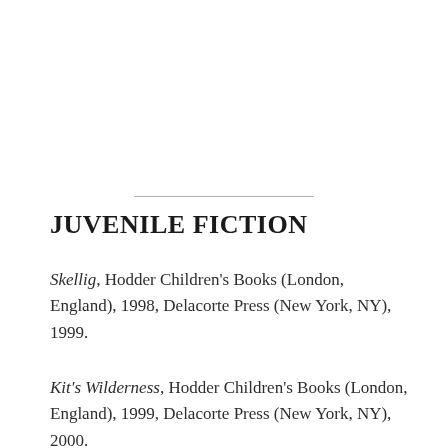JUVENILE FICTION
Skellig, Hodder Children's Books (London, England), 1998, Delacorte Press (New York, NY), 1999.
Kit's Wilderness, Hodder Children's Books (London, England), 1999, Delacorte Press (New York, NY), 2000.